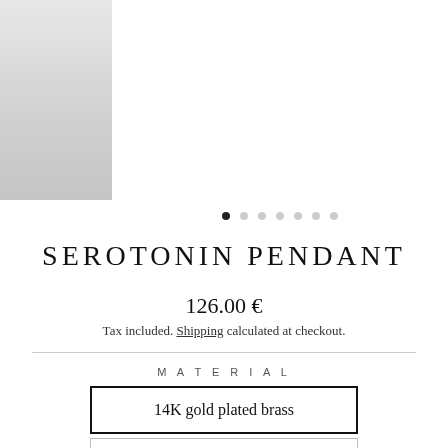[Figure (photo): Product page screenshot showing a serotonin molecule pendant jewelry in gold color against a light background, with thumbnail strip on left and zoom icon button]
SEROTONIN PENDANT
126.00 €
Tax included. Shipping calculated at checkout.
MATERIAL
14K gold plated brass
14K rose gold plated brass